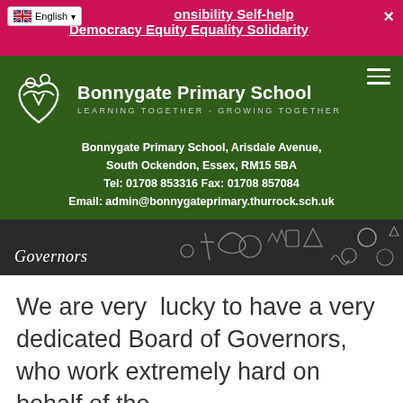onsibility Self-help Democracy Equity Equality Solidarity
[Figure (logo): Bonnygate Primary School green header with logo showing two figures with a heart, school name and tagline 'LEARNING TOGETHER - GROWING TOGETHER', address details]
Bonnygate Primary School, Arisdale Avenue, South Ockendon, Essex, RM15 5BA Tel: 01708 853316 Fax: 01708 857084 Email: admin@bonnygateprimary.thurrock.sch.uk
[Figure (photo): Dark chalkboard banner with 'Governors' written in chalk italic font and chalk doodles on the right side]
We are very  lucky to have a very dedicated Board of Governors, who work extremely hard on behalf of the